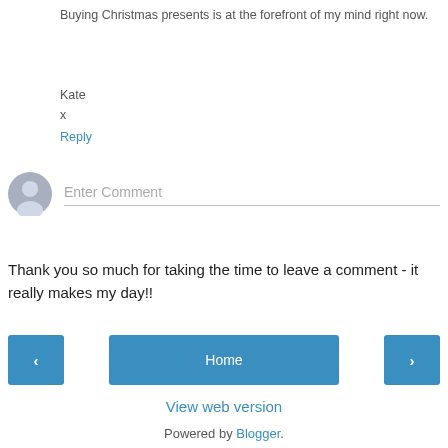Buying Christmas presents is at the forefront of my mind right now.
Kate
x
Reply
[Figure (other): User avatar icon (grey silhouette) with an Enter Comment input field below]
Thank you so much for taking the time to leave a comment - it really makes my day!!
[Figure (other): Navigation buttons: left arrow, Home (center), right arrow — blue rounded rectangles]
View web version
Powered by Blogger.